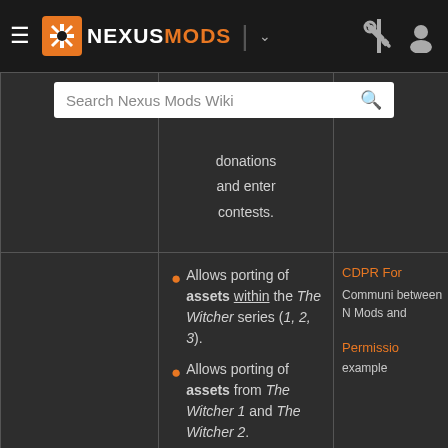[Figure (screenshot): Nexus Mods website navigation bar with logo, hamburger menu, divider, dropdown arrow, wrench/tools icon, and user icon]
|  | Permissions/Allowances | Notes |
| --- | --- | --- |
|  | donations and enter contests. |  |
| CD Projekt RED | Allows porting of assets within the The Witcher series (1, 2, 3). Allows porting of assets from The Witcher 1 and The Witcher 2. Authorisation for porting of assets from The Witcher | CDPR For

Community between N Mods and

Permissio example |